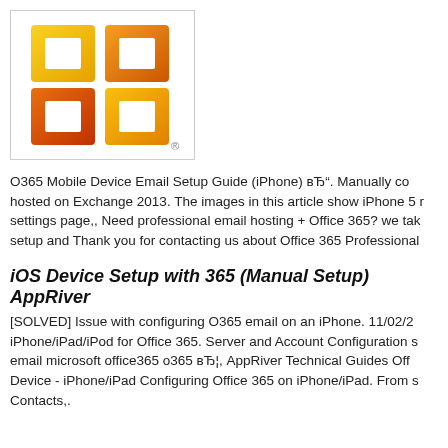[Figure (logo): Microsoft Office logo - orange/yellow four-square design with registered trademark symbol]
O365 Mobile Device Email Setup Guide (iPhone) вЂ". Manually co hosted on Exchange 2013. The images in this article show iPhone 5 r settings page,, Need professional email hosting + Office 365? we tak setup and Thank you for contacting us about Office 365 Professional
iOS Device Setup with 365 (Manual Setup) AppRiver
[SOLVED] Issue with configuring O365 email on an iPhone. 11/02/2 iPhone/iPad/iPod for Office 365. Server and Account Configuration s email microsoft office365 o365 вЂ¦, AppRiver Technical Guides Off Device - iPhone/iPad Configuring Office 365 on iPhone/iPad. From s Contacts,.